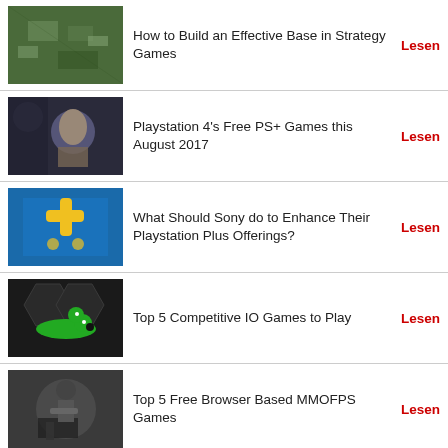How to Build an Effective Base in Strategy Games
Playstation 4's Free PS+ Games this August 2017
What Should Sony do to Enhance Their Playstation Plus Offerings?
Top 5 Competitive IO Games to Play
Top 5 Free Browser Based MMOFPS Games
Interview with Yin Zhaojun, Project Manager for Armed Heroes 2
Can eSports be Considered As Actual Sports
The Best Free-to-Play Games